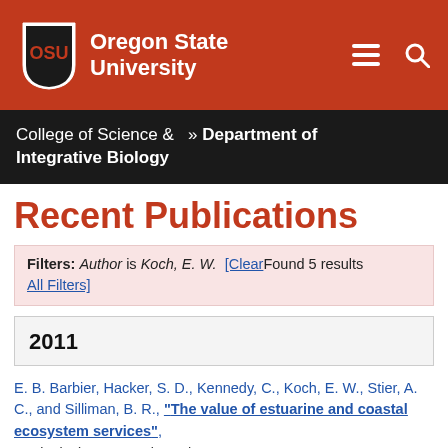[Figure (logo): Oregon State University logo with shield emblem and navigation icons on red/orange header background]
College of Science &  » Department of Integrative Biology
Recent Publications
Filters: Author is Koch, E. W. [Clear All Filters] Found 5 results
2011
E. B. Barbier, Hacker, S. D., Kennedy, C., Koch, E. W., Stier, A. C., and Silliman, B. R., "The value of estuarine and coastal ecosystem services", Ecological Monographs, vol. 81, pp. 169-193, 2011.